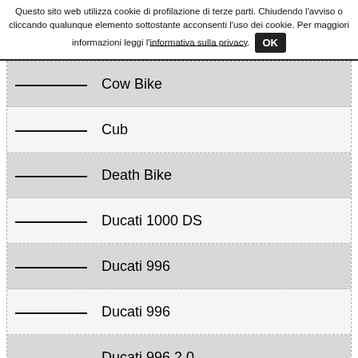Questo sito web utilizza cookie di profilazione di terze parti. Chiudendo l'avviso o cliccando qualunque elemento sottostante acconsenti l'uso dei cookie. Per maggiori informazioni leggi l'informativa sulla privacy. OK
Cow Bike
Cub
Death Bike
Ducati 1000 DS
Ducati 996
Ducati 996
Ducati 996 2.0
1 2 3 4 5 »